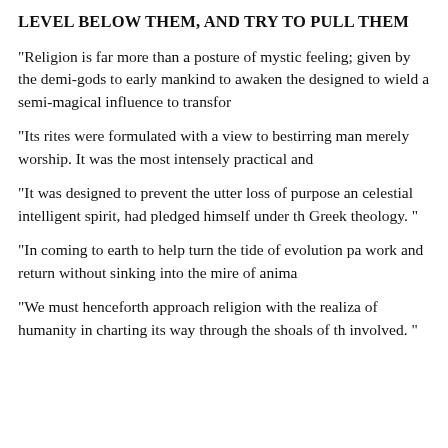LEVEL BELOW THEM, AND TRY TO PULL THEM
"Religion is far more than a posture of mystic feeling; given by the demi-gods to early mankind to awaken the designed to wield a semi-magical influence to transfor
"Its rites were formulated with a view to bestirring man merely worship. It was the most intensely practical and
"It was designed to prevent the utter loss of purpose an celestial intelligent spirit, had pledged himself under th Greek theology. "
"In coming to earth to help turn the tide of evolution pa work and return without sinking into the mire of anima
"We must henceforth approach religion with the realiza of humanity in charting its way through the shoals of th involved. "